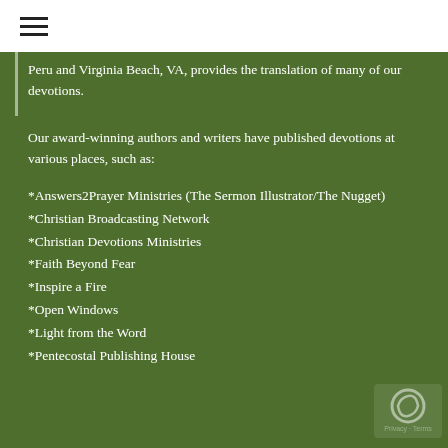≡
Peru and Virginia Beach, VA, provides the translation of many of our devotions.
Our award-winning authors and writers have published devotions at various places, such as:
*Answers2Prayer Ministries (The Sermon Illustrator/The Nugget)
*Christian Broadcasting Network
*Christian Devotions Ministries
*Faith Beyond Fear
*Inspire a Fire
*Open Windows
*Light from the Word
*Pentecostal Publishing House